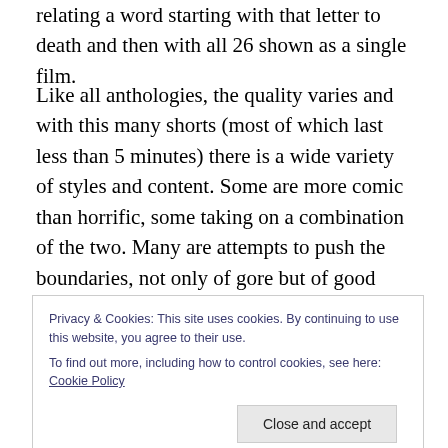relating a word starting with that letter to death and then with all 26 shown as a single film.
Like all anthologies, the quality varies and with this many shorts (most of which last less than 5 minutes) there is a wide variety of styles and content. Some are more comic than horrific, some taking on a combination of the two. Many are attempts to push the boundaries, not only of gore but of good taste. Some are intriguing, some are innovative, some are repulsive and some are mediocre. Most people will find at least one of the shorts to be
Privacy & Cookies: This site uses cookies. By continuing to use this website, you agree to their use.
To find out more, including how to control cookies, see here: Cookie Policy
in which a savage murder is turned into an act of mercy